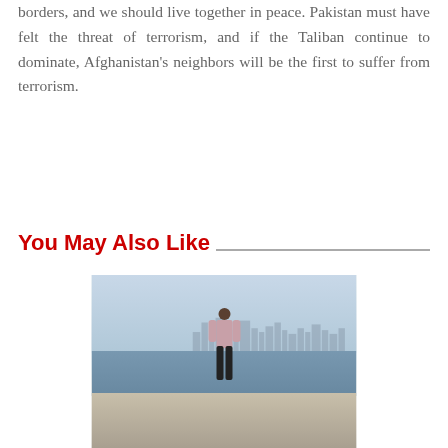borders, and we should live together in peace. Pakistan must have felt the threat of terrorism, and if the Taliban continue to dominate, Afghanistan's neighbors will be the first to suffer from terrorism.
You May Also Like
[Figure (photo): A man standing on a rocky waterfront with a city skyline visible in the hazy background across the water.]